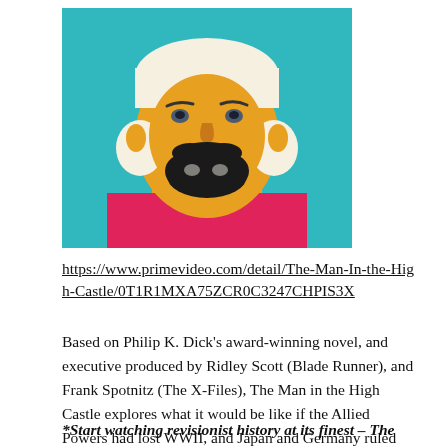[Figure (illustration): Pop-art style illustration of a bearded man with a mustache, wearing a pink/magenta shirt, with a yellow/orange face and white hair, against a teal/turquoise background.]
https://www.primevideo.com/detail/The-Man-In-the-High-Castle/0T1R1MXA75ZCR0C3247CHPIS3X
Based on Philip K. Dick's award-winning novel, and executive produced by Ridley Scott (Blade Runner), and Frank Spotnitz (The X-Files), The Man in the High Castle explores what it would be like if the Allied Powers had lost WWII, and Japan and Germany ruled the United States.
*Start watching revisionist history at its finest – The